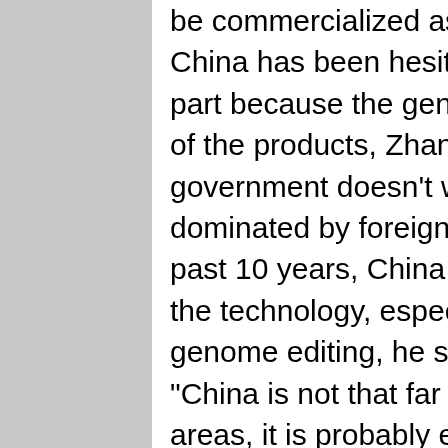be commercialized as soon as next year. China has been hesitant in the use of GM in part because the general public has a distrust of the products, Zhang said, but also the government doesn't want the technology to be dominated by foreign companies. Over the past 10 years, China has invested heavily in the technology, especially CRISPR and genome editing, he said. “China is not that far behind and in some areas, it is probably even more advanced than its foreign counterparts,” Zhang said. “So there is more of a conscious push that way, but this still is going to be a long road.” It took the United States about 20 to 25 years to improve yields 20% to 25% through the adoption of GM technology, he said, and even if China went full speed ahead, it would probably take the same amount of time. Chinese officials have shown no willingness to accept safety testing data from outside of